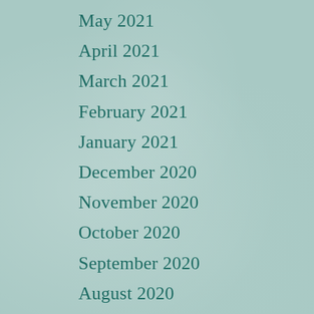May 2021
April 2021
March 2021
February 2021
January 2021
December 2020
November 2020
October 2020
September 2020
August 2020
June 2020